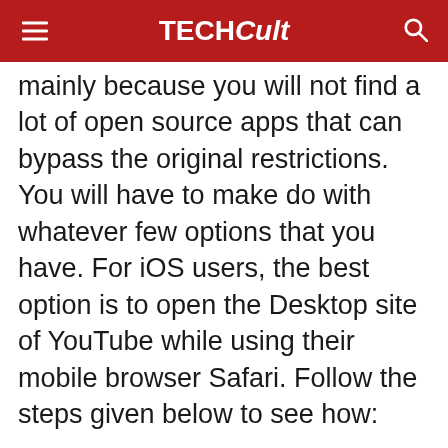TECHCult
mainly because you will not find a lot of open source apps that can bypass the original restrictions. You will have to make do with whatever few options that you have. For iOS users, the best option is to open the Desktop site of YouTube while using their mobile browser Safari. Follow the steps given below to see how:
The first thing that you need to do is open the Safari app on your device.
Now tap on the A icon on the top left-hand side of the screen.
From the drop-down menu, select the